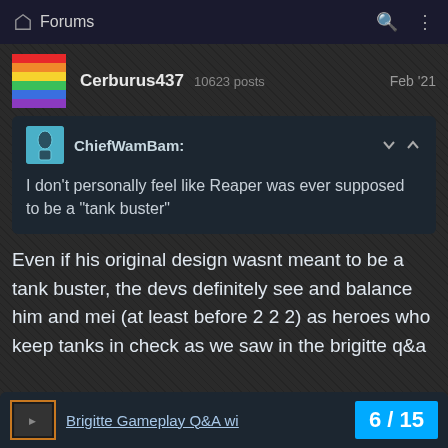Forums
Cerburus437  10623 posts    Feb '21
ChiefWamBam: I don't personally feel like Reaper was ever supposed to be a "tank buster"
Even if his original design wasnt meant to be a tank buster, the devs definitely see and balance him and mei (at least before 2 2 2) as heroes who keep tanks in check as we saw in the brigitte q&a
Brigitte Gameplay Q&A wi  6 / 15